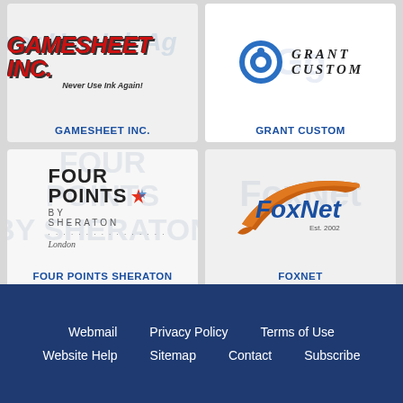[Figure (logo): Gamesheet Inc. logo — bold red italic text 'GAMESHEET INC.' with tagline 'Never Use Ink Again!']
GAMESHEET INC.
[Figure (logo): Grant Custom logo — stylized blue G emblem with 'GRANT CUSTOM' text in italic serif]
GRANT CUSTOM
[Figure (logo): Four Points by Sheraton logo — text logo with colorful burst mark, subtitle 'London']
FOUR POINTS SHERATON
[Figure (logo): FoxNet logo — orange swoosh with blue FoxNet text and 'Est. 2002']
FOXNET
Webmail  Privacy Policy  Terms of Use  Website Help  Sitemap  Contact  Subscribe